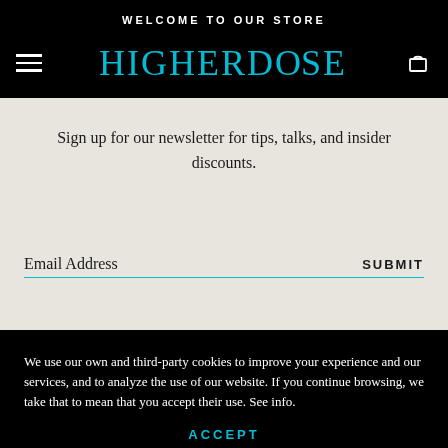WELCOME TO OUR STORE
HIGHERDOSE
Sign up for our newsletter for tips, talks, and insider discounts.
Email Address
SUBMIT
We use our own and third-party cookies to improve your experience and our services, and to analyze the use of our website. If you continue browsing, we take that to mean that you accept their use. See info.
ACCEPT